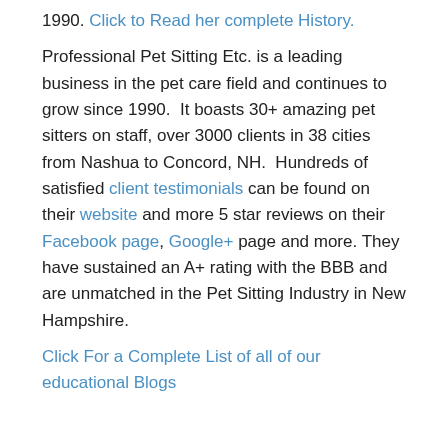1990. Click to Read her complete History.
Professional Pet Sitting Etc. is a leading business in the pet care field and continues to grow since 1990.  It boasts 30+ amazing pet sitters on staff, over 3000 clients in 38 cities from Nashua to Concord, NH.  Hundreds of satisfied client testimonials can be found on their website and more 5 star reviews on their Facebook page, Google+ page and more. They have sustained an A+ rating with the BBB and are unmatched in the Pet Sitting Industry in New Hampshire.
Click For a Complete List of all of our educational Blogs